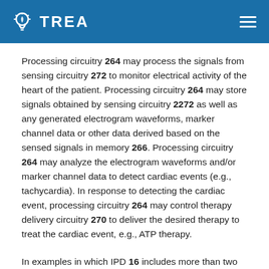TREA
Processing circuitry 264 may process the signals from sensing circuitry 272 to monitor electrical activity of the heart of the patient. Processing circuitry 264 may store signals obtained by sensing circuitry 2272 as well as any generated electrogram waveforms, marker channel data or other data derived based on the sensed signals in memory 266. Processing circuitry 264 may analyze the electrogram waveforms and/or marker channel data to detect cardiac events (e.g., tachycardia). In response to detecting the cardiac event, processing circuitry 264 may control therapy delivery circuitry 270 to deliver the desired therapy to treat the cardiac event, e.g., ATP therapy.
In examples in which IPD 16 includes more than two electrodes, therapy delivery circuitry 270 may include a switch and processing circuitry 264 may use the switch to select, e.g., via a data/address bus, which of the available electrodes